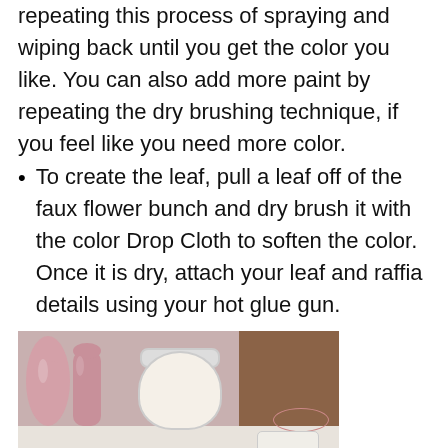repeating this process of spraying and wiping back until you get the color you like. You can also add more paint by repeating the dry brushing technique, if you feel like you need more color.
To create the leaf, pull a leaf off of the faux flower bunch and dry brush it with the color Drop Cloth to soften the color. Once it is dry, attach your leaf and raffia details using your hot glue gun.
[Figure (photo): Photo of hands holding a white cup near an open jar of paint (cream colored), with pink painted vase objects in the background on a white table, with wooden shelving visible.]